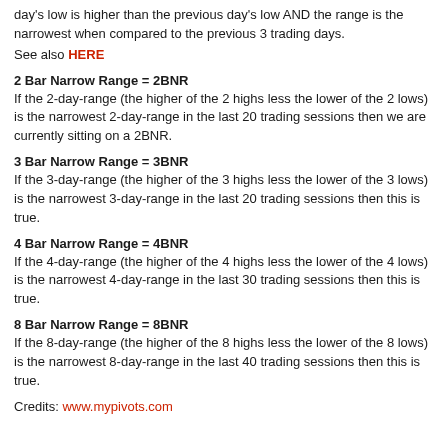day's low is higher than the previous day's low AND the range is the narrowest when compared to the previous 3 trading days.
See also HERE
2 Bar Narrow Range = 2BNR
If the 2-day-range (the higher of the 2 highs less the lower of the 2 lows) is the narrowest 2-day-range in the last 20 trading sessions then we are currently sitting on a 2BNR.
3 Bar Narrow Range = 3BNR
If the 3-day-range (the higher of the 3 highs less the lower of the 3 lows) is the narrowest 3-day-range in the last 20 trading sessions then this is true.
4 Bar Narrow Range = 4BNR
If the 4-day-range (the higher of the 4 highs less the lower of the 4 lows) is the narrowest 4-day-range in the last 30 trading sessions then this is true.
8 Bar Narrow Range = 8BNR
If the 8-day-range (the higher of the 8 highs less the lower of the 8 lows) is the narrowest 8-day-range in the last 40 trading sessions then this is true.
Credits: www.mypivots.com